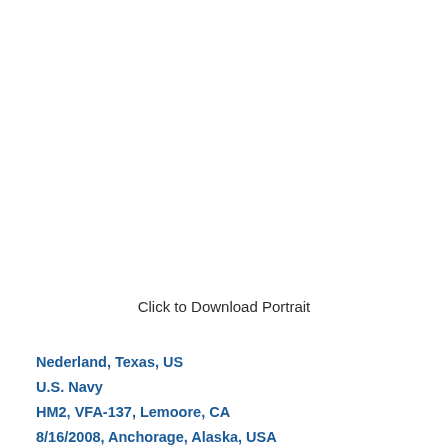Click to Download Portrait
Nederland, Texas, US
U.S. Navy
HM2, VFA-137, Lemoore, CA
8/16/2008, Anchorage, Alaska, USA